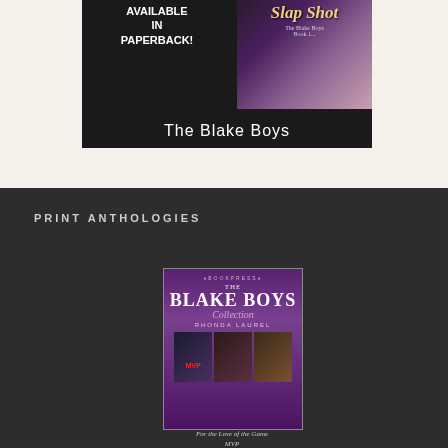[Figure (illustration): Book promotion banner showing 'Available in Paperback!' text and 'Slap Shot - The Blake Boys Book 1' cover image, with 'The Blake Boys' title in white text at bottom on dark background]
PRINT ANTHOLOGIES
[Figure (illustration): The Blake Boys Collection book cover by Rhonda Laurel, purple background with smaller inset covers for 'MVP', another Blake Boys book, and a third title. Bottom caption reads 'For the Love of the Game / MVP']
For the Love of the Game
MVP